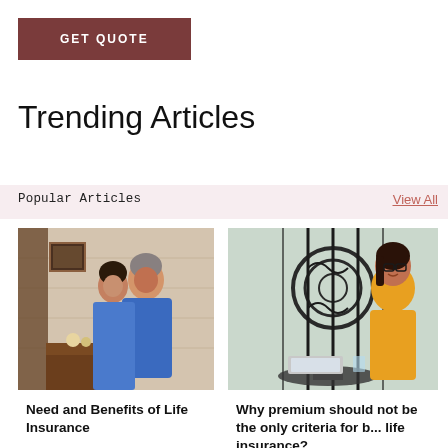GET QUOTE
Trending Articles
Popular Articles
View All
[Figure (photo): An older couple posing together indoors, smiling, with home decor in background]
Need and Benefits of Life Insurance
[Figure (photo): A woman in a yellow top sitting at an outdoor table with a laptop, smiling]
Why premium should not be the only criteria for buying life insurance?